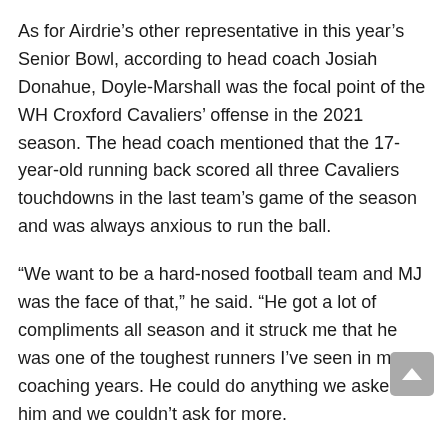As for Airdrie's other representative in this year's Senior Bowl, according to head coach Josiah Donahue, Doyle-Marshall was the focal point of the WH Croxford Cavaliers' offense in the 2021 season. The head coach mentioned that the 17-year-old running back scored all three Cavaliers touchdowns in the last team's game of the season and was always anxious to run the ball.
“We want to be a hard-nosed football team and MJ was the face of that,” he said. “He got a lot of compliments all season and it struck me that he was one of the toughest runners I’ve seen in my coaching years. He could do anything we asked of him and we couldn’t ask for more.
“We’re excited to see where he goes in the future.”
Doyle-Marshall, who moved to Airdrie from Scarborough